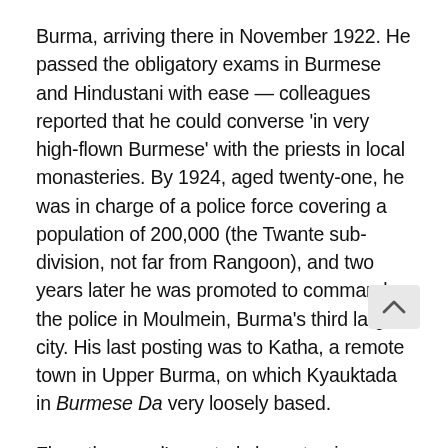Burma, arriving there in November 1922. He passed the obligatory exams in Burmese and Hindustani with ease — colleagues reported that he could converse 'in very high-flown Burmese' with the priests in local monasteries. By 1924, aged twenty-one, he was in charge of a police force covering a population of 200,000 (the Twante sub-division, not far from Rangoon), and two years later he was promoted to command the police in Moulmein, Burma's third largest city. His last posting was to Katha, a remote town in Upper Burma, on which Kyauktada in Burmese Da very loosely based.
Flory, the novel's central character, is stationed in Kyauktada, but he is by no means an Orwell self-portrait. His background is different ('a cheap, third-rate public school') and he is a timber-merchant, not a police officer. The 'hideous